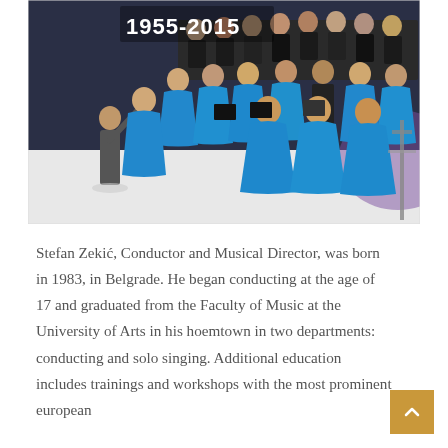[Figure (photo): A choir conductor in a suit directing a large choir. Female singers wear long bright blue dresses, male singers wear black. The text '1955-2015' is overlaid in the top-left corner of the image.]
Stefan Zekić, Conductor and Musical Director, was born in 1983, in Belgrade. He began conducting at the age of 17 and graduated from the Faculty of Music at the University of Arts in his hoemtown in two departments: conducting and solo singing. Additional education includes trainings and workshops with the most prominent european